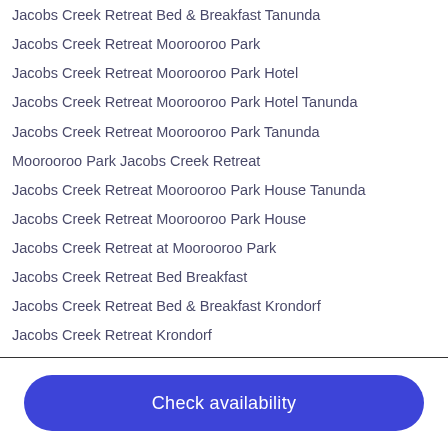Jacobs Creek Retreat Bed & Breakfast Tanunda
Jacobs Creek Retreat Moorooroo Park
Jacobs Creek Retreat Moorooroo Park Hotel
Jacobs Creek Retreat Moorooroo Park Hotel Tanunda
Jacobs Creek Retreat Moorooroo Park Tanunda
Moorooroo Park Jacobs Creek Retreat
Jacobs Creek Retreat Moorooroo Park House Tanunda
Jacobs Creek Retreat Moorooroo Park House
Jacobs Creek Retreat at Moorooroo Park
Jacobs Creek Retreat Bed Breakfast
Jacobs Creek Retreat Bed & Breakfast Krondorf
Jacobs Creek Retreat Krondorf
Guesthouse Jacobs Creek Retreat Bed & Breakfast Krondorf
Krondorf Jacobs Creek Retreat Bed & Breakfast Guesthouse
Guesthouse Jacobs Creek Retreat Bed & Breakfast
Check availability